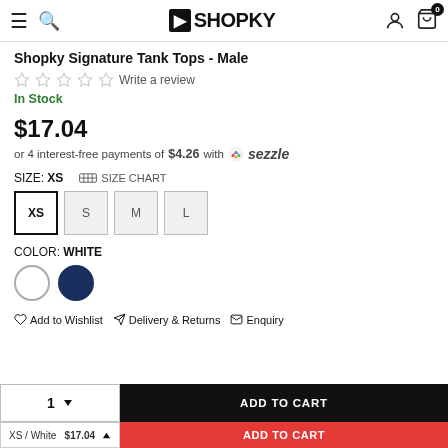SHOPKY
Shopky Signature Tank Tops - Male
Write a review
In Stock
$17.04
or 4 interest-free payments of $4.26 with sezzle
SIZE: XS
SIZE CHART
XS S M L
COLOR: WHITE
Add to Wishlist   Delivery & Returns   Enquiry
1   ADD TO CART
XS / White  $17.04   ADD TO CART